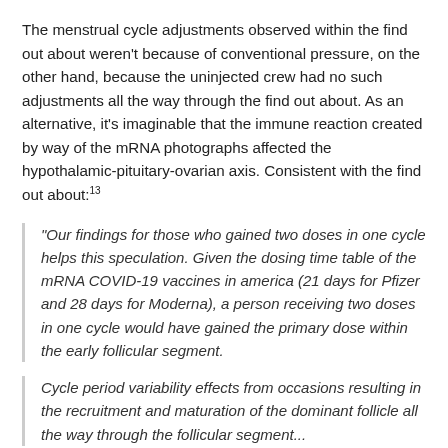The menstrual cycle adjustments observed within the find out about weren't because of conventional pressure, on the other hand, because the uninjected crew had no such adjustments all the way through the find out about. As an alternative, it's imaginable that the immune reaction created by way of the mRNA photographs affected the hypothalamic-pituitary-ovarian axis. Consistent with the find out about:13
“Our findings for those who gained two doses in one cycle helps this speculation. Given the dosing time table of the mRNA COVID-19 vaccines in america (21 days for Pfizer and 28 days for Moderna), a person receiving two doses in one cycle would have gained the primary dose within the early follicular segment.
Cycle period variability effects from occasions resulting in the recruitment and maturation of the dominant follicle all the way through the follicular segment...